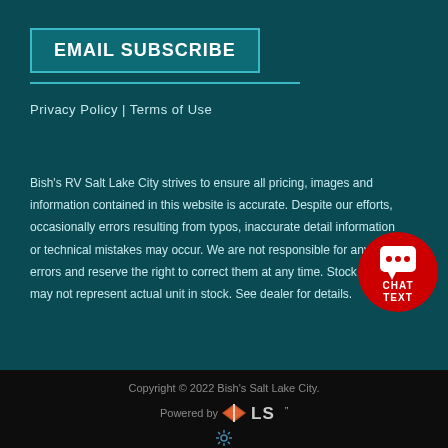EMAIL SUBSCRIBE
Privacy Policy | Terms of Use
Bish's RV Salt Lake City strives to ensure all pricing, images and information contained in this website is accurate. Despite our efforts, occasionally errors resulting from typos, inaccurate detail information or technical mistakes may occur. We are not responsible for any such errors and reserve the right to correct them at any time. Stock photos may not represent actual unit in stock. See dealer for details.
[Figure (infographic): Red circular chat/text button with speech bubble icon, CHAT TEXT label]
Copyright © 2022 Bish's Salt Lake City. Powered by [LS logo]